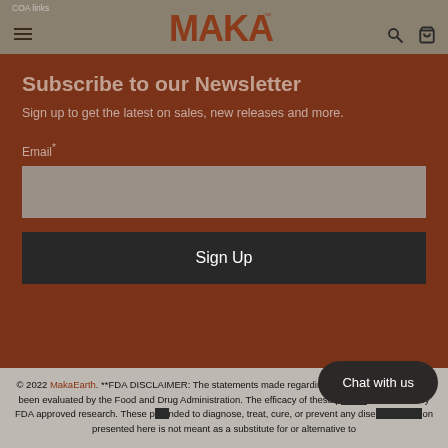COA links | MAKA logo | search and cart icons
Subscribe to our Newsletter
Sign up to get the latest on sales, new releases and more.
Email*
Sign Up
© 2022 MakaEarth. **FDA DISCLAIMER: The statements made regarding these products have not been evaluated by the Food and Drug Administration. The efficacy of these products has not been confirmed by FDA approved research. These products are not intended to diagnose, treat, cure, or prevent any disease. All information presented here is not meant as a substitute for or alternative to